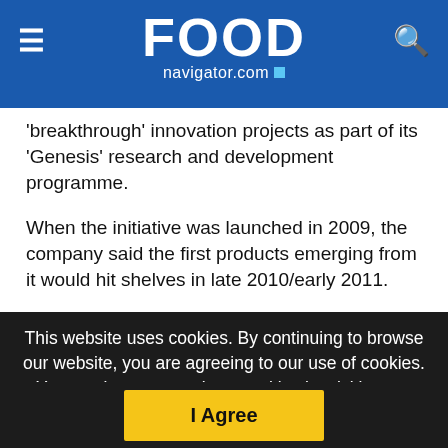FOODnavigator.com
'breakthrough' innovation projects as part of its 'Genesis' research and development programme.
When the initiative was launched in 2009, the company said the first products emerging from it would hit shelves in late 2010/early 2011.
In a recent interview, however, Polman was vague on timings, adding that products would “come in progressively over the next few years”.
This website uses cookies. By continuing to browse our website, you are agreeing to our use of cookies. You can learn more about cookies by visiting our privacy & cookies policy page.